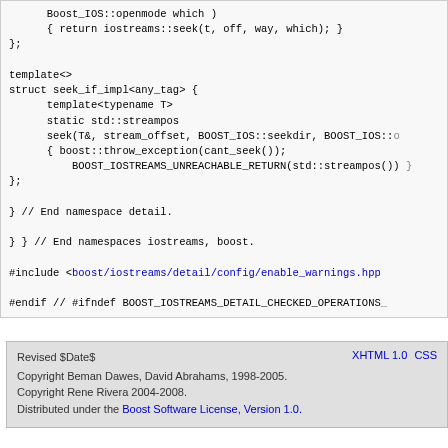Code block showing C++ template struct seek_if_impl with boost::iostreams seek and namespace closings, plus #include and #endif directives
Revised $Date$ | XHTML 1.0 CSS | Copyright Beman Dawes, David Abrahams, 1998-2005. Copyright Rene Rivera 2004-2008. Distributed under the Boost Software License, Version 1.0.